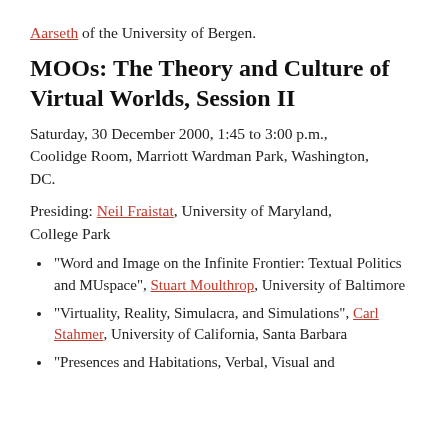Aarseth of the University of Bergen.
MOOs: The Theory and Culture of Virtual Worlds, Session II
Saturday, 30 December 2000, 1:45 to 3:00 p.m., Coolidge Room, Marriott Wardman Park, Washington, DC.
Presiding: Neil Fraistat, University of Maryland, College Park
“Word and Image on the Infinite Frontier: Textual Politics and MUspace”, Stuart Moulthrop, University of Baltimore
“Virtuality, Reality, Simulacra, and Simulations”, Carl Stahmer, University of California, Santa Barbara
“Presences and Habitations, Verbal, Visual and